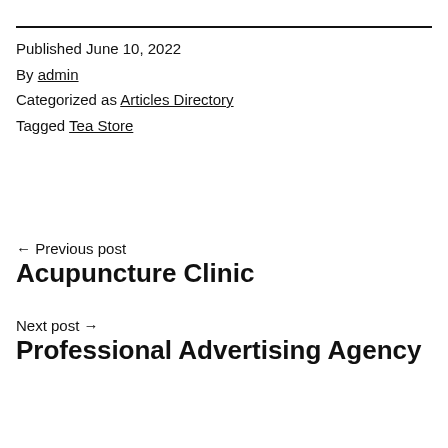Published June 10, 2022
By admin
Categorized as Articles Directory
Tagged Tea Store
← Previous post
Acupuncture Clinic
Next post →
Professional Advertising Agency